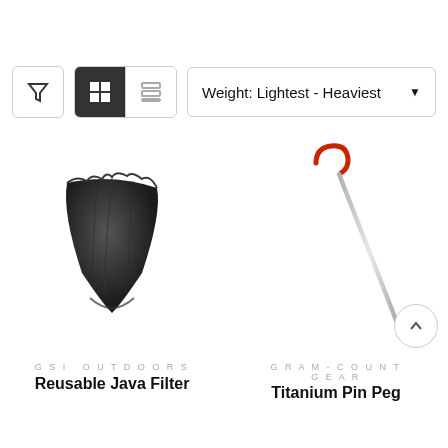[Figure (screenshot): Filter icon button with border]
[Figure (screenshot): Grid/list view toggle buttons, grid view active (dark background), list view inactive]
Weight: Lightest - Heaviest
[Figure (photo): Black reusable java coffee filter, cone-shaped cloth filter collapsed flat]
[Figure (photo): Titanium pin peg tent stake, slender silver rod with red hook top]
GSI OUTDOORS
Reusable Java Filter
GRAM-COUNT GEAR
Titanium Pin Peg